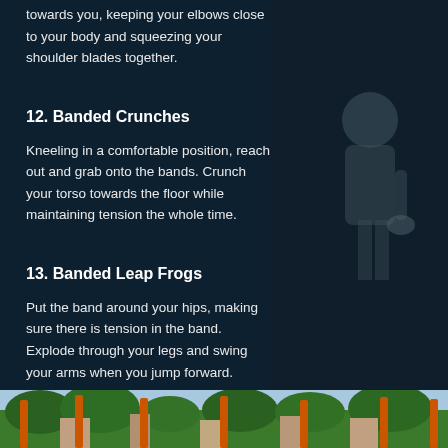towards you, keeping your elbows close to your body and squeezing your shoulder blades together.
12. Banded Crunches
Kneeling in a comfortable position, reach out and grab onto the bands. Crunch your torso towards the floor while maintaining tension the whole time.
13. Banded Leap Frogs
Put the band around your hips, making sure there is tension in the band. Explode through your legs and swing your arms when you jump forward.
[Figure (photo): Person holding exercise equipment, dark background, gym setting]
[Figure (photo): Outdoor fitness area with orange structures, trees, and buildings in background]